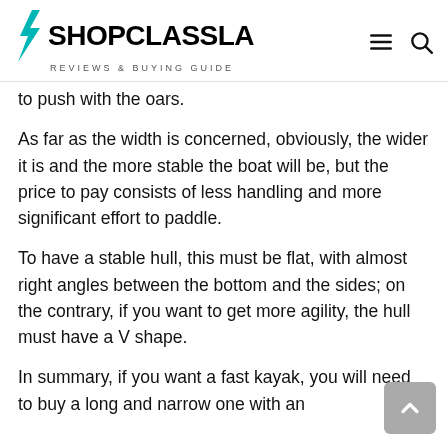SHOPCLASSLA REVIEWS & BUYING GUIDE
to push with the oars.
As far as the width is concerned, obviously, the wider it is and the more stable the boat will be, but the price to pay consists of less handling and more significant effort to paddle.
To have a stable hull, this must be flat, with almost right angles between the bottom and the sides; on the contrary, if you want to get more agility, the hull must have a V shape.
In summary, if you want a fast kayak, you will need to buy a long and narrow one with an